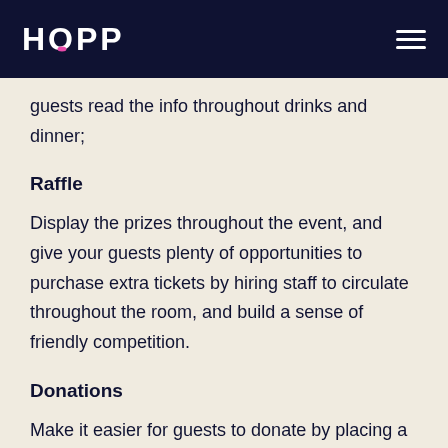HOPP
guests read the info throughout drinks and dinner;
Raffle
Display the prizes throughout the event, and give your guests plenty of opportunities to purchase extra tickets by hiring staff to circulate throughout the room, and build a sense of friendly competition.
Donations
Make it easier for guests to donate by placing a few separate stations throughout the venue. In an